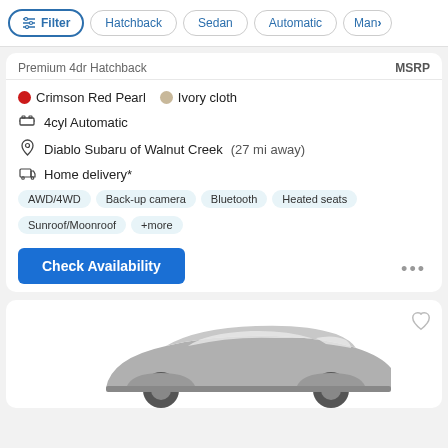Filter  Hatchback  Sedan  Automatic  Man…
Premium 4dr Hatchback
MSRP
Crimson Red Pearl   Ivory cloth
4cyl Automatic
Diablo Subaru of Walnut Creek (27 mi away)
Home delivery*
AWD/4WD
Back-up camera
Bluetooth
Heated seats
Sunroof/Moonroof
+more
Check Availability
[Figure (photo): Partial view of a gray car (sedan/hatchback) visible at the bottom of the page]